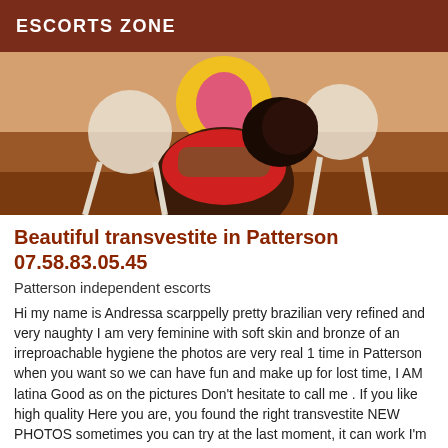ESCORTS ZONE
[Figure (photo): Photo of a person from behind, sitting near colorful circular chairs (yellow, pink, white), wearing a red top, dark hair, warm-toned room background.]
Beautiful transvestite in Patterson 07.58.83.05.45
Patterson independent escorts
Hi my name is Andressa scarppelly pretty brazilian very refined and very naughty I am very feminine with soft skin and bronze of an irreproachable hygiene the photos are very real 1 time in Patterson when you want so we can have fun and make up for lost time, I AM latina Good as on the pictures Don't hesitate to call me . If you like high quality Here you are, you found the right transvestite NEW PHOTOS sometimes you can try at the last moment, it can work I'm a beautiful am good like